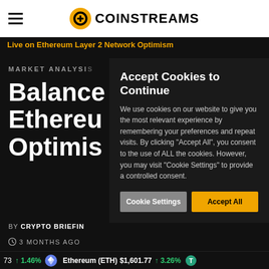COINSTREAMS
Live on Ethereum Layer 2 Network Optimism
MARKET ANALYSIS
Balance Ethereum Optimis
BY CRYPTO BRIEFIN
3 MONTHS AGO
Accept Cookies to Continue
We use cookies on our website to give you the most relevant experience by remembering your preferences and repeat visits. By clicking "Accept All", you consent to the use of ALL the cookies. However, you may visit "Cookie Settings" to provide a controlled consent.
Cookie Settings   Accept All
73 ↑ 1.46%   Ethereum (ETH) $1,601.77 ↑ 3.26%